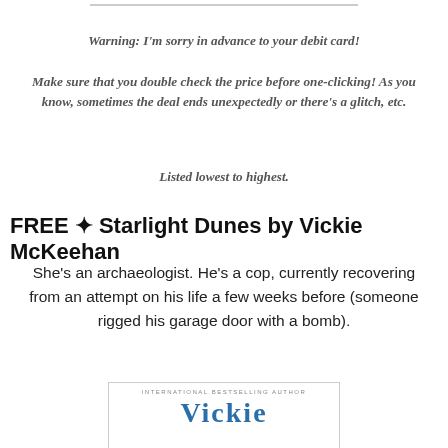Warning: I'm sorry in advance to your debit card!
Make sure that you double check the price before one-clicking! As you know, sometimes the deal ends unexpectedly or there's a glitch, etc.
Listed lowest to highest.
FREE ✦ Starlight Dunes by Vickie McKeehan
She's an archaeologist. He's a cop, currently recovering from an attempt on his life a few weeks before (someone rigged his garage door with a bomb).
[Figure (illustration): Book cover showing 'INTERNATIONAL BESTSELLING AUTHOR' and 'VICKIE' text in blue]